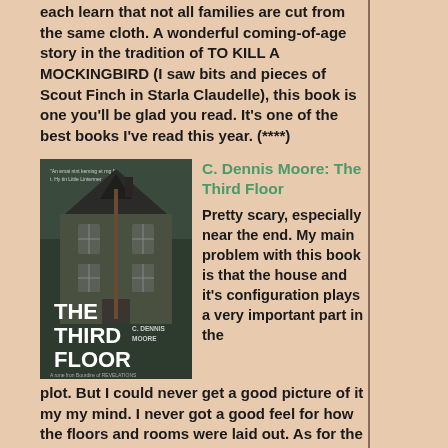each learn that not all families are cut from the same cloth. A wonderful coming-of-age story in the tradition of TO KILL A MOCKINGBIRD (I saw bits and pieces of Scout Finch in Starla Claudelle), this book is one you'll be glad you read. It's one of the best books I've read this year. (****)
[Figure (photo): Book cover of 'The Third Floor' by C. Dennis Moore showing a dark Victorian house]
C. Dennis Moore: The Third Floor
Pretty scary, especially near the end. My main problem with this book is that the house and it's configuration plays a very important part in the plot. But I could never get a good picture of it my my mind. I never got a good feel for how the floors and rooms were laid out. As for the plot, nothing new. Husband, wife, and 6-year-old son move into haunted house and the haunting